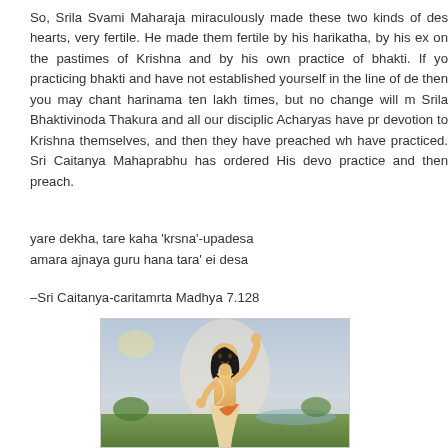So, Srila Svami Maharaja miraculously made these two kinds of des hearts, very fertile. He made them fertile by his harikatha, by his ex on the pastimes of Krishna and by his own practice of bhakti. If yo practicing bhakti and have not established yourself in the line of d then you may chant harinama ten lakh times, but no change will m Srila Bhaktivinoda Thakura and all our disciplic Acharyas have pr devotion to Krishna themselves, and then they have preached wh have practiced. Sri Caitanya Mahaprabhu has ordered His devo practice and then preach.
yare dekha, tare kaha 'krsna'-upadesa
amara ajnaya guru hana tara' ei desa
–Sri Caitanya-caritamrta Madhya 7.128
[Figure (illustration): A traditional Indian painting depicting Sri Caitanya Mahaprabhu with one arm raised upward, standing in a devotional pose. The background shows a landscape with sky and greenery. The figure wears a dhoti and has long dark hair.]